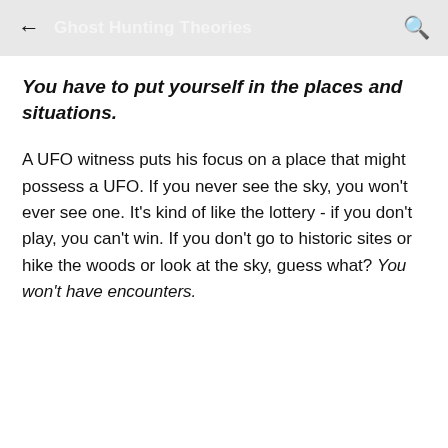Ghost Hunting Theories
You have to put yourself in the places and situations.
A UFO witness puts his focus on a place that might possess a UFO. If you never see the sky, you won't ever see one. It's kind of like the lottery - if you don't play, you can't win. If you don't go to historic sites or hike the woods or look at the sky, guess what? You won't have encounters.